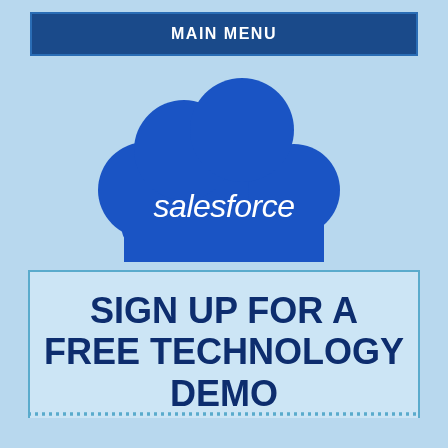MAIN MENU
[Figure (logo): Salesforce cloud logo — blue cloud shape with 'salesforce' text in white italic font]
SIGN UP FOR A FREE TECHNOLOGY DEMO